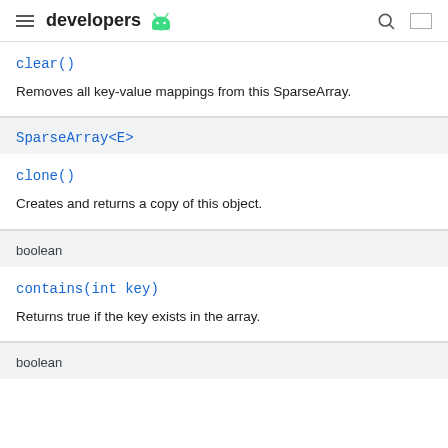developers
clear()
Removes all key-value mappings from this SparseArray.
SparseArray<E>
clone()
Creates and returns a copy of this object.
boolean
contains(int key)
Returns true if the key exists in the array.
boolean